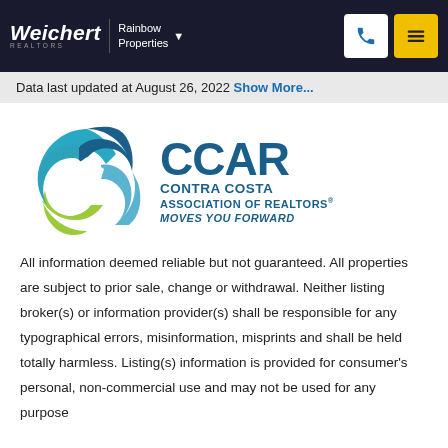Weichert REALTORS | Rainbow Properties
Data last updated at August 26, 2022 Show More...
[Figure (logo): CCAR Contra Costa Association of Realtors logo with circular swoosh graphic and tagline MOVES YOU FORWARD]
All information deemed reliable but not guaranteed. All properties are subject to prior sale, change or withdrawal. Neither listing broker(s) or information provider(s) shall be responsible for any typographical errors, misinformation, misprints and shall be held totally harmless. Listing(s) information is provided for consumer's personal, non-commercial use and may not be used for any purpose